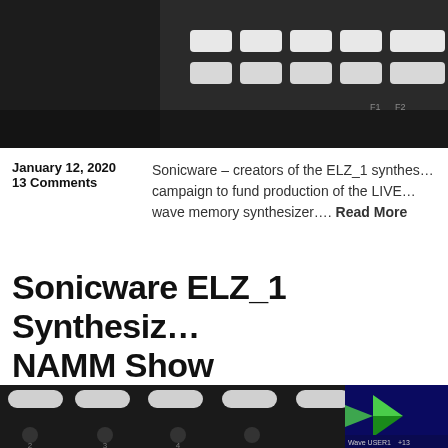[Figure (photo): Top portion of a dark synthesizer hardware device showing white keys and dark casing, partially cropped]
January 12, 2020
13 Comments
Sonicware – creators of the ELZ_1 synthe… campaign to fund production of the LIVE… wave memory synthesizer…. Read More
Sonicware ELZ_1 Synthesiz… NAMM Show
[Figure (photo): Bottom portion of dark synthesizer hardware with white oval buttons and small blue LCD screen showing waveform graphics and green triangular shapes, with UI elements showing Wave USER1, Detune +13]